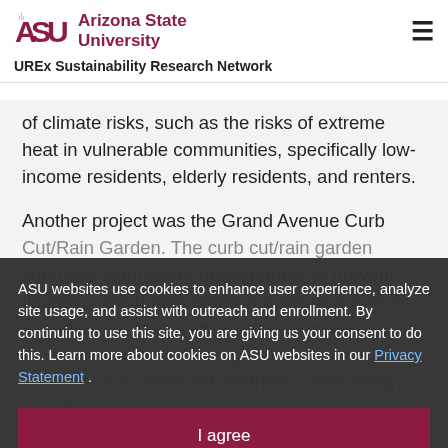ASU Arizona State University
UREx Sustainability Research Network
of climate risks, such as the risks of extreme heat in vulnerable communities, specifically low-income residents, elderly residents, and renters.
Another project was the Grand Avenue Curb Cut/Rain Garden. The curb cut/rain garden improves stormwater management to prevent flooding risks during heavy precipitation events. In addition to improved stormwater management, the project created more greenspace for residents and improved aesthetics, walkability, and shade coverage.
ASU websites use cookies to enhance user experience, analyze site usage, and assist with outreach and enrollment. By continuing to use this site, you are giving us your consent to do this. Learn more about cookies on ASU websites in our Privacy Statement .
I agree
Lastly, the Triangle Tree Planting project was a community outreach program that engaged residents